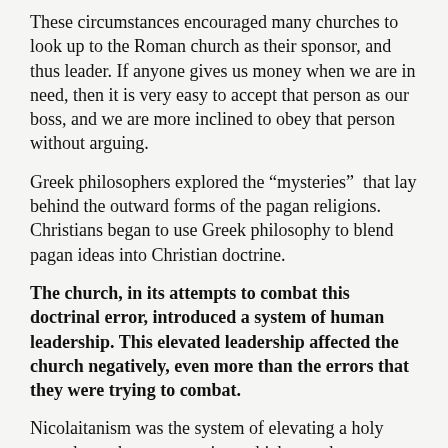These circumstances encouraged many churches to look up to the Roman church as their sponsor, and thus leader. If anyone gives us money when we are in need, then it is very easy to accept that person as our boss, and we are more inclined to obey that person without arguing.
Greek philosophers explored the “mysteries” that lay behind the outward forms of the pagan religions. Christians began to use Greek philosophy to blend pagan ideas into Christian doctrine.
The church, in its attempts to combat this doctrinal error, introduced a system of human leadership. This elevated leadership affected the church negatively, even more than the errors that they were trying to combat.
Nicolaitanism was the system of elevating a holy man above the congregation, which soon began to seriously modify the character of the churches. Priests were put in charge of each church, and then bishops were put in charge of the priests. By AD 170, when the first church